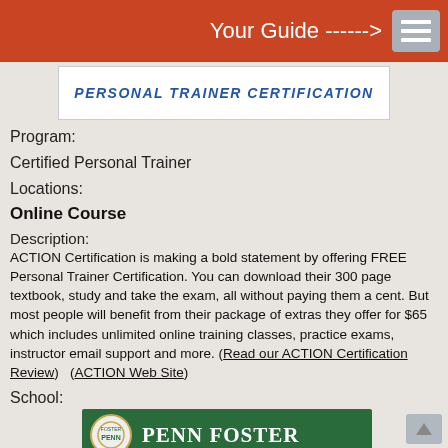Your Guide ------->
[Figure (logo): ACTION Personal Trainer Certification logo banner]
Program:
Certified Personal Trainer
Locations:
Online Course
Description:
ACTION Certification is making a bold statement by offering FREE Personal Trainer Certification. You can download their 300 page textbook, study and take the exam, all without paying them a cent. But most people will benefit from their package of extras they offer for $65 which includes unlimited online training classes, practice exams, instructor email support and more. (Read our ACTION Certification Review)   (ACTION Web Site)
School:
[Figure (logo): Penn Foster logo on green background]